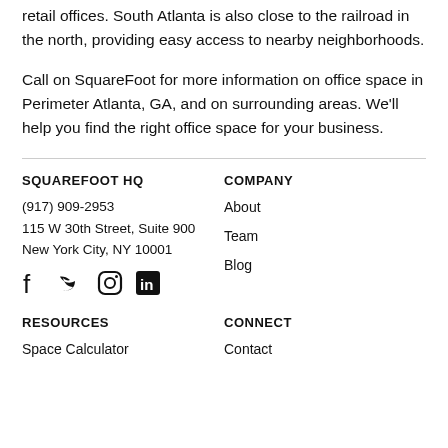retail offices. South Atlanta is also close to the railroad in the north, providing easy access to nearby neighborhoods.
Call on SquareFoot for more information on office space in Perimeter Atlanta, GA, and on surrounding areas. We'll help you find the right office space for your business.
SQUAREFOOT HQ
(917) 909-2953
115 W 30th Street, Suite 900
New York City, NY 10001
[Social icons: Facebook, Twitter, Instagram, LinkedIn]

COMPANY
About
Team
Blog

RESOURCES
Space Calculator

CONNECT
Contact